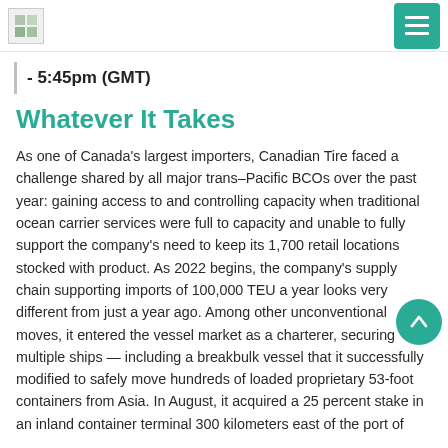[Logo] [Menu button]
- 5:45pm (GMT)
Whatever It Takes
As one of Canada’s largest importers, Canadian Tire faced a challenge shared by all major trans–Pacific BCOs over the past year: gaining access to and controlling capacity when traditional ocean carrier services were full to capacity and unable to fully support the company’s need to keep its 1,700 retail locations stocked with product. As 2022 begins, the company’s supply chain supporting imports of 100,000 TEU a year looks very different from just a year ago. Among other unconventional moves, it entered the vessel market as a charterer, securing multiple ships — including a breakbulk vessel that it successfully modified to safely move hundreds of loaded proprietary 53-foot containers from Asia. In August, it acquired a 25 percent stake in an inland container terminal 300 kilometers east of the port of